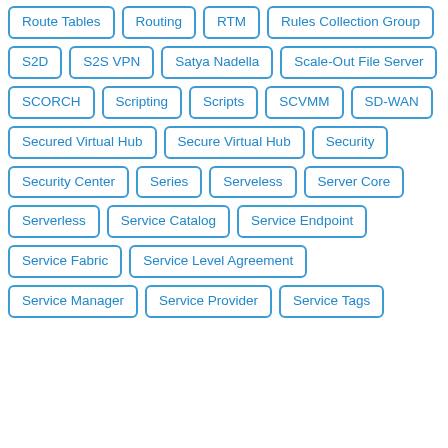Route Tables
Routing
RTM
Rules Collection Group
S2D
S2S VPN
Satya Nadella
Scale-Out File Server
SCORCH
Scripting
Scripts
SCVMM
SD-WAN
Secured Virtual Hub
Secure Virtual Hub
Security
Security Center
Series
Serveless
Server Core
Serverless
Service Catalog
Service Endpoint
Service Fabric
Service Level Agreement
Service Manager
Service Provider
Service Tags